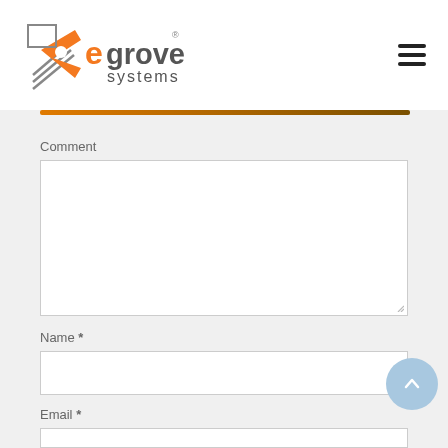[Figure (logo): eGrove Systems logo with orange and grey stylized swoosh/arrow graphic and text 'egrove systems']
Comment
Name *
Email *